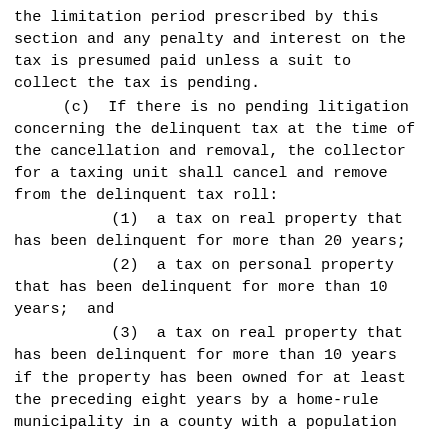the limitation period prescribed by this section and any penalty and interest on the tax is presumed paid unless a suit to collect the tax is pending.
(c)  If there is no pending litigation concerning the delinquent tax at the time of the cancellation and removal, the collector for a taxing unit shall cancel and remove from the delinquent tax roll:
(1)  a tax on real property that has been delinquent for more than 20 years;
(2)  a tax on personal property that has been delinquent for more than 10 years;  and
(3)  a tax on real property that has been delinquent for more than 10 years if the property has been owned for at least the preceding eight years by a home-rule municipality in a county with a population